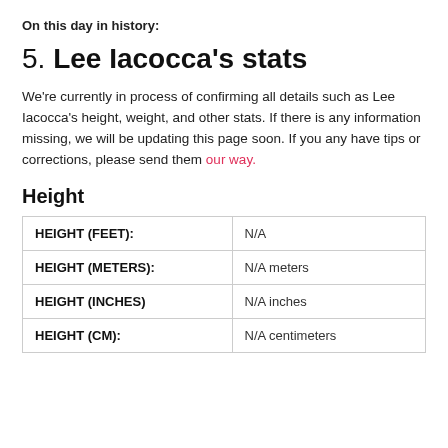On this day in history:
5. Lee Iacocca's stats
We're currently in process of confirming all details such as Lee Iacocca's height, weight, and other stats. If there is any information missing, we will be updating this page soon. If you any have tips or corrections, please send them our way.
Height
| HEIGHT (FEET): | N/A |
| HEIGHT (METERS): | N/A meters |
| HEIGHT (INCHES) | N/A inches |
| HEIGHT (CM): | N/A centimeters |